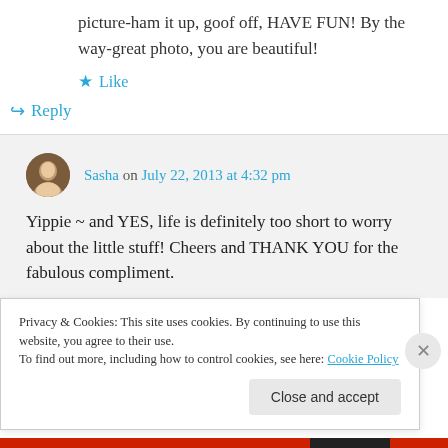picture-ham it up, goof off, HAVE FUN! By the way-great photo, you are beautiful!
★ Like
↳ Reply
Sasha on July 22, 2013 at 4:32 pm
Yippie ~ and YES, life is definitely too short to worry about the little stuff! Cheers and THANK YOU for the fabulous compliment.
Privacy & Cookies: This site uses cookies. By continuing to use this website, you agree to their use.
To find out more, including how to control cookies, see here: Cookie Policy
Close and accept